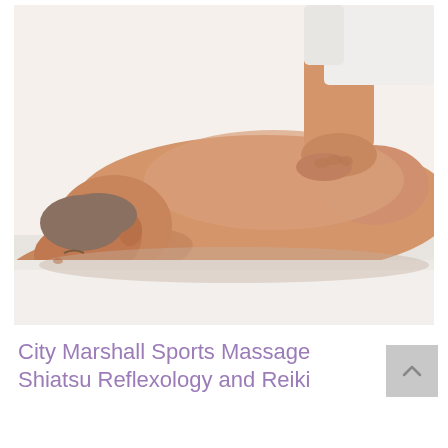[Figure (photo): A man lying face-down on a massage table receiving a back massage from a therapist whose hands are pressing on his upper back/shoulder area. The person is shirtless and resting on a white towel. The therapist is wearing white. The background is white.]
City Marshall Sports Massage Shiatsu Reflexology and Reiki